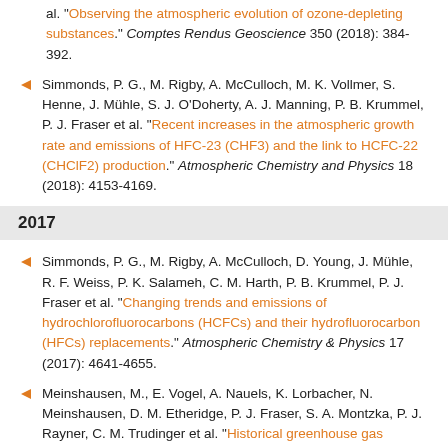al. "Observing the atmospheric evolution of ozone-depleting substances." Comptes Rendus Geoscience 350 (2018): 384-392.
Simmonds, P. G., M. Rigby, A. McCulloch, M. K. Vollmer, S. Henne, J. Mühle, S. J. O'Doherty, A. J. Manning, P. B. Krummel, P. J. Fraser et al. "Recent increases in the atmospheric growth rate and emissions of HFC-23 (CHF3) and the link to HCFC-22 (CHClF2) production." Atmospheric Chemistry and Physics 18 (2018): 4153-4169.
2017
Simmonds, P. G., M. Rigby, A. McCulloch, D. Young, J. Mühle, R. F. Weiss, P. K. Salameh, C. M. Harth, P. B. Krummel, P. J. Fraser et al. "Changing trends and emissions of hydrochlorofluorocarbons (HCFCs) and their hydrofluorocarbon (HFCs) replacements." Atmospheric Chemistry & Physics 17 (2017): 4641-4655.
Meinshausen, M., E. Vogel, A. Nauels, K. Lorbacher, N. Meinshausen, D. M. Etheridge, P. J. Fraser, S. A. Montzka, P. J. Rayner, C. M. Trudinger et al. "Historical greenhouse gas